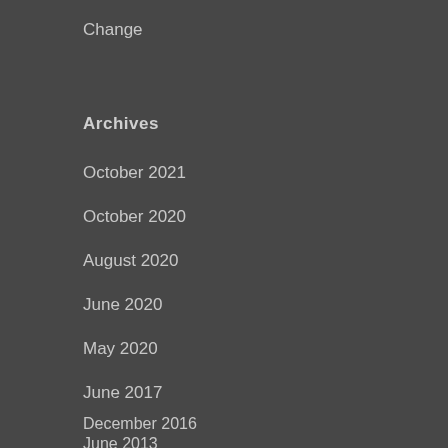Change
Archives
October 2021
October 2020
August 2020
June 2020
May 2020
June 2017
December 2016
June 2013